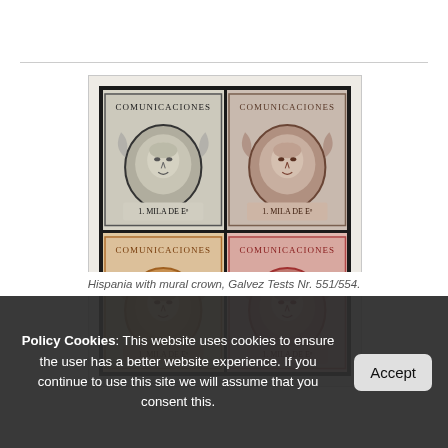[Figure (photo): Four Spanish stamp proofs (Hispania with mural crown) arranged in a 2×2 grid on a black background. Top-left: black/grey stamp; top-right: brown/mauve stamp; bottom-left: orange-brown stamp; bottom-right: rose/pink stamp. Each stamp reads 'COMUNICACIONES' at top and '1. MILA DE Eº' at bottom.]
Policy Cookies: This website uses cookies to ensure the user has a better website experience. If you continue to use this site we will assume that you consent this.
Hispania with mural crown, Galvez Tests Nr. 551/554.